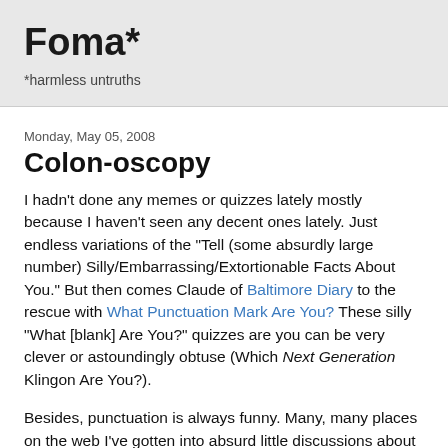Foma*
*harmless untruths
Monday, May 05, 2008
Colon-oscopy
I hadn't done any memes or quizzes lately mostly because I haven't seen any decent ones lately. Just endless variations of the "Tell (some absurdly large number) Silly/Embarrassing/Extortionable Facts About You." But then comes Claude of Baltimore Diary to the rescue with What Punctuation Mark Are You? These silly "What [blank] Are You?" quizzes are you can be very clever or astoundingly obtuse (Which Next Generation Klingon Are You?).
Besides, punctuation is always funny. Many, many places on the web I've gotten into absurd little discussions about gra...